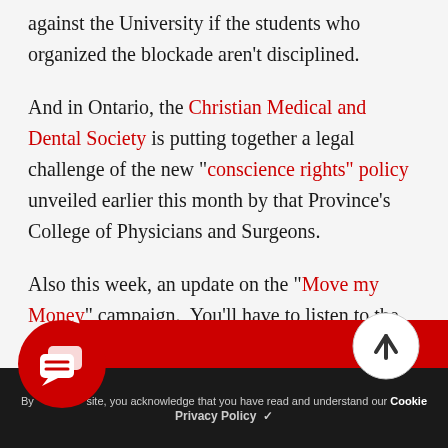against the University if the students who organized the blockade aren't disciplined.
And in Ontario, the Christian Medical and Dental Society is putting together a legal challenge of the new "conscience rights" policy unveiled earlier this month by that Province's College of Physicians and Surgeons.
Also this week, an update on the "Move my Money" campaign.  You'll have to listen to the program, but there's evidence that the initiative now has the attention of the people at the corporate offices of the Bank of Montreal.
[Figure (illustration): Red circular chat/comments icon with two overlapping speech bubbles containing lines]
[Figure (illustration): Light grey circular scroll-to-top button with upward arrow]
By using this site, you acknowledge that you have read and understand our Cookie Privacy Policy ✓